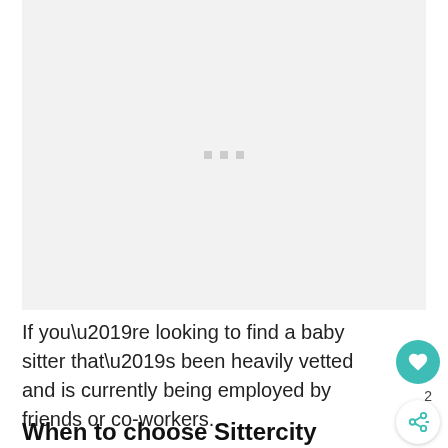[Figure (other): Light gray placeholder image area with three small gray dots in the center, indicating a loading or blank image.]
If you’re looking to find a baby sitter that’s been heavily vetted and is currently being employed by friends or co-workers.
When to choose Sittercity